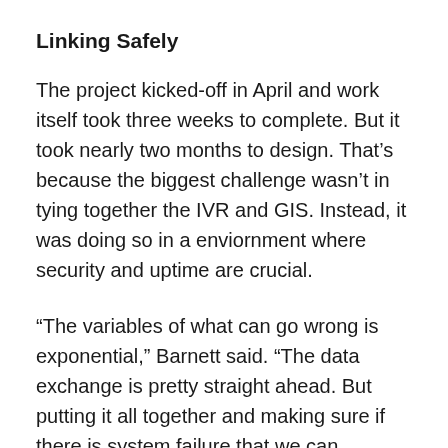Linking Safely
The project kicked-off in April and work itself took three weeks to complete. But it took nearly two months to design. That’s because the biggest challenge wasn’t in tying together the IVR and GIS. Instead, it was doing so in a enviornment where security and uptime are crucial.
“The variables of what can go wrong is exponential,” Barnett said. “The data exchange is pretty straight ahead. But putting it all together and making sure if there is system failure that we can account for it… that can be quite staggering.”
First Barnett made sure the integration would be seamless. “We told (Telus that) BizTalk has two pieces to it, a basic messaging engine and a basic